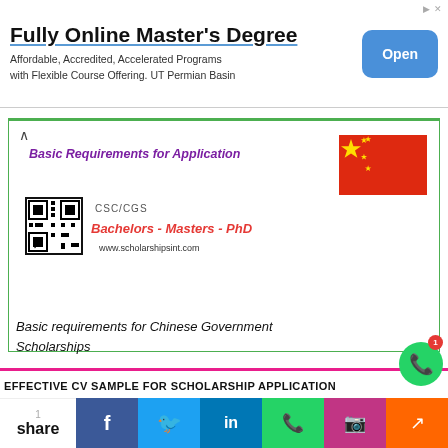[Figure (infographic): Advertisement banner: 'Fully Online Master's Degree' with Open button]
[Figure (infographic): Card showing Basic Requirements for Application with China flag, QR code, CSC/CGS logo, Bachelors-Masters-PhD text, and scholarshipsint.com URL]
Basic requirements for Chinese Government Scholarships
EFFECTIVE CV SAMPLE FOR SCHOLARSHIP APPLICATION
[Figure (screenshot): Thumbnail images showing Effective CV Samples for Scholarships Application]
[Figure (infographic): Social sharing bar with Facebook, Twitter, LinkedIn, WhatsApp, Instagram, Share buttons]